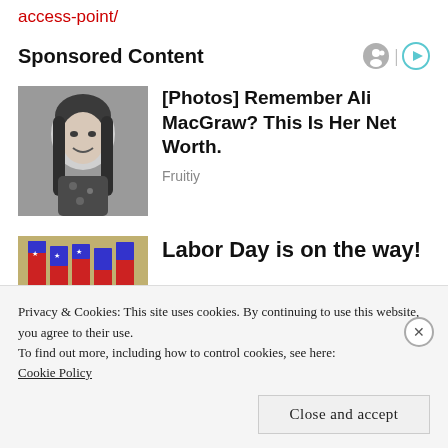access-point/
Sponsored Content
[Figure (photo): Black and white photo of a young woman with long dark hair, smiling, wearing a floral top]
[Photos] Remember Ali MacGraw? This Is Her Net Worth.
Fruitiy
[Figure (photo): American flags bundled together, store setting]
Labor Day is on the way!
Privacy & Cookies: This site uses cookies. By continuing to use this website, you agree to their use.
To find out more, including how to control cookies, see here: Cookie Policy